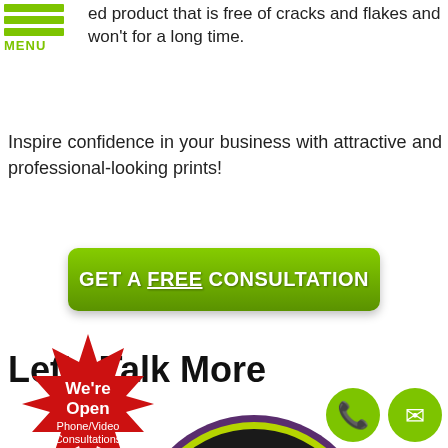ed product that is free of cracks and flakes and won't for a long time.
MENU
Inspire confidence in your business with attractive and professional-looking prints!
[Figure (other): Green button with text GET A FREE CONSULTATION]
Let’s Talk More
[Figure (logo): Company logo: dark circular badge with stylized letter B and a dragon/gargoyle figure. Red starburst badge reads We're Open Phone/Video Consultations Available. Green phone and email contact buttons at bottom right.]